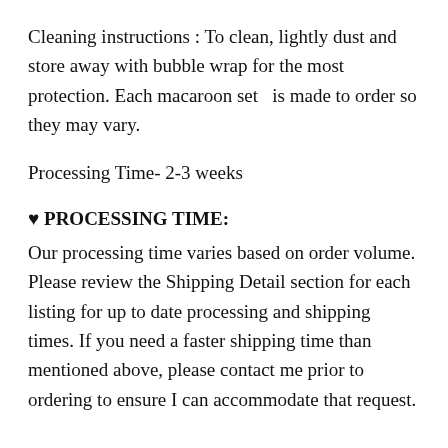Cleaning instructions : To clean, lightly dust and store away with bubble wrap for the most protection. Each macaroon set  is made to order so they may vary.
Processing Time- 2-3 weeks
♥ PROCESSING TIME:
Our processing time varies based on order volume. Please review the Shipping Detail section for each listing for up to date processing and shipping times. If you need a faster shipping time than mentioned above, please contact me prior to ordering to ensure I can accommodate that request.